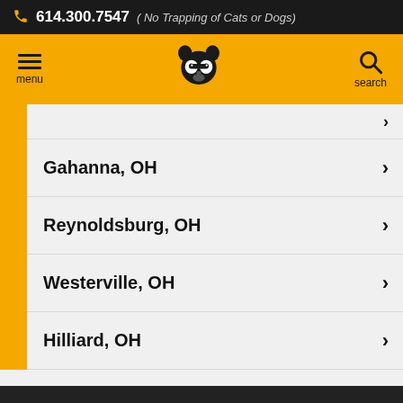614.300.7547 ( No Trapping of Cats or Dogs)
[Figure (logo): Navigation bar with hamburger menu, raccoon logo, and search icon on yellow background]
Gahanna, OH
Reynoldsburg, OH
Westerville, OH
Hilliard, OH
Call For A Fast & FREE Phone Estimate Today